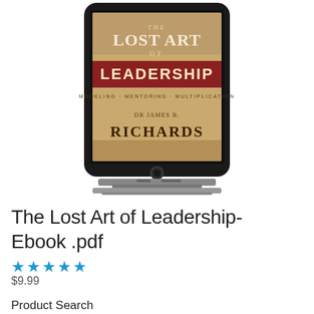[Figure (illustration): An iPad tablet device displaying the book cover of 'The Lost Art of Leadership: Modeling - Mentoring - Multiplication' by Dr James B. Richards. The book cover has a warm golden/tan background with ornate styling. The iPad is shown in landscape orientation with a black frame and silver stand at the bottom.]
The Lost Art of Leadership-Ebook .pdf
★★★★★
$9.99
Product Search